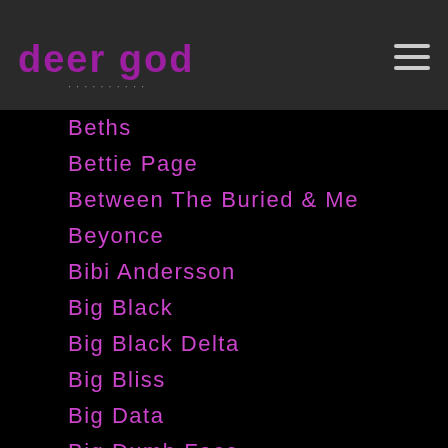deer god
Beths
Bettie Page
Between The Buried & Me
Beyonce
Bibi Andersson
Big Black
Big Black Delta
Big Bliss
Big Data
Big Dumb Face
Big Eyes
Big Freedia
Big K.R.I.T.
Big Lebowski
Big Star
Bikini Kill
Bill Berry